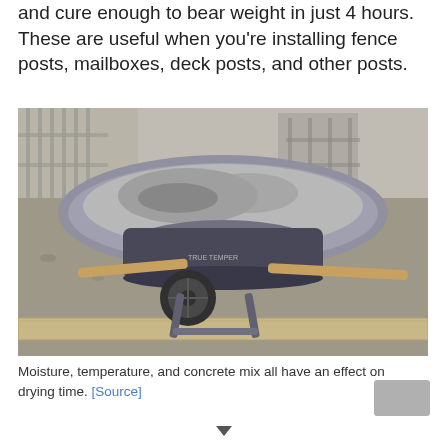and cure enough to bear weight in just 4 hours. These are useful when you're installing fence posts, mailboxes, deck posts, and other posts.
[Figure (photo): A concrete-covered wheelbarrow on a construction site with gravel ground, wooden formwork boards, and construction materials in the background.]
Moisture, temperature, and concrete mix all have an effect on drying time. [Source]